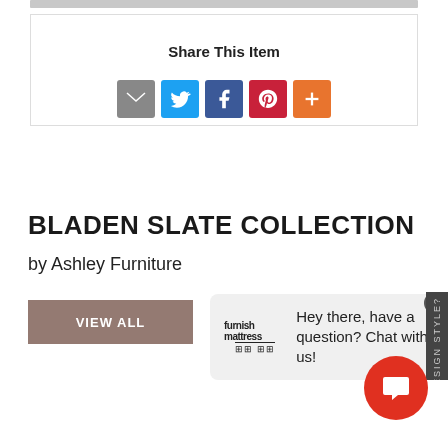Share This Item
[Figure (screenshot): Social share icons: email (gray), Twitter (blue), Facebook (dark blue), Pinterest (red), more/plus (orange)]
BLADEN SLATE COLLECTION
by Ashley Furniture
[Figure (other): VIEW ALL button (brown/mauve background, white text)]
[Figure (other): Chat popup: Furnish Mattress logo, text: Hey there, have a question? Chat with us!]
[Figure (photo): Dark gray/charcoal leather sofa or chair partial view at bottom of page]
[Figure (other): Red circular chat button with speech bubble icon, bottom right]